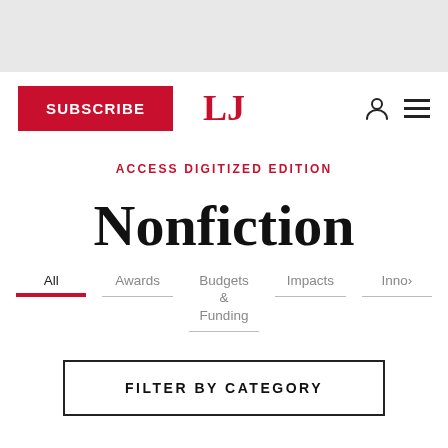SUBSCRIBE | LJ | [user icon] [menu icon]
ACCESS DIGITIZED EDITION
Nonfiction
All
Awards
Budgets & Funding
Impacts
Inno…
FILTER BY CATEGORY